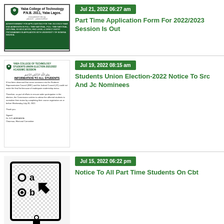[Figure (other): Yaba College of Technology letterhead/advertisement image]
Jul 21, 2022 06:27 am
Part Time Application Form For 2022/2023 Session Is Out
[Figure (other): Yaba College of Technology Students Union Election notice document]
Jul 19, 2022 08:15 am
Students Union Election-2022 Notice To Src And Jc Nominees
[Figure (illustration): Computer monitor with CBT (Computer Based Test) interface showing radio buttons labeled a and b with cursor, and a mouse]
Jul 15, 2022 06:22 pm
Notice To All Part Time Students On Cbt